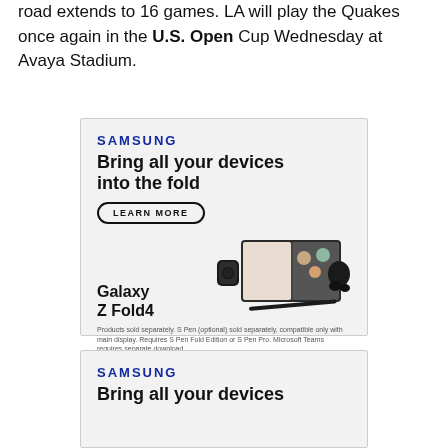road extends to 16 games. LA will play the Quakes once again in the U.S. Open Cup Wednesday at Avaya Stadium.
[Figure (illustration): Samsung advertisement for Galaxy Z Fold4. Header reads SAMSUNG in blue. Headline: Bring all your devices into the fold. LEARN MORE button. Illustration of Galaxy Z Fold4 open as a tablet with video call on screen, a Galaxy Watch, Galaxy Buds, and S Pen. Fine print: Products sold separately. S Pen (optional) sold separately, compatible only with main display. Requires S Pen Fold Edition or S Pen Pro. Microsoft Teams requires separate download.]
[Figure (illustration): Partial Samsung advertisement (cropped): SAMSUNG logo in blue, headline starting: Bring all your devices]